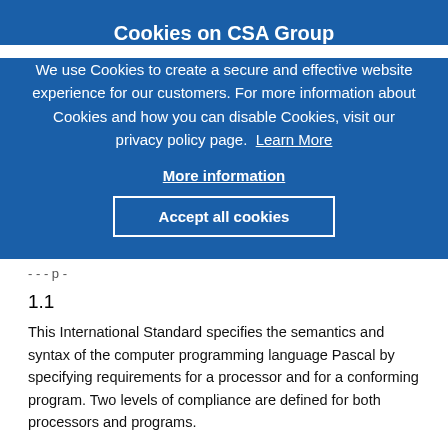Cookies on CSA Group
We use Cookies to create a secure and effective website experience for our customers. For more information about Cookies and how you can disable Cookies, visit our privacy policy page. Learn More
More information
Accept all cookies
- - - p -
1.1
This International Standard specifies the semantics and syntax of the computer programming language Pascal by specifying requirements for a processor and for a conforming program. Two levels of compliance are defined for both processors and programs.
1.2 This International Standard does not specify